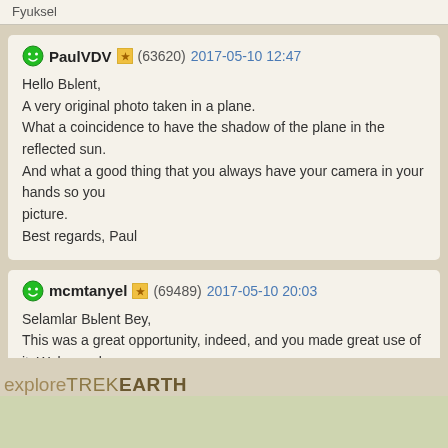Fyuksel
PaulVDV (63620) 2017-05-10 12:47

Hello Bьlent,
A very original photo taken in a plane.
What a coincidence to have the shadow of the plane in the reflected sun.
And what a good thing that you always have your camera in your hands so you picture.
Best regards, Paul
mcmtanyel (69489) 2017-05-10 20:03

Selamlar Bьlent Bey,
This was a great opportunity, indeed, and you made great use of it. Welcome ba takes you to a new exciting destination.
Regards,
MT
explore TREKEARTH